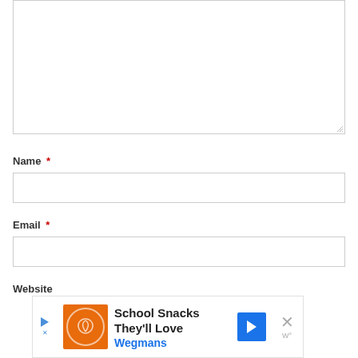[Figure (screenshot): Empty textarea comment input box with resize handle at bottom right]
Name *
[Figure (screenshot): Empty text input field for Name]
Email *
[Figure (screenshot): Empty text input field for Email]
Website
[Figure (screenshot): Advertisement banner: School Snacks They'll Love - Wegmans, with play button, product image, navigation arrow, and close button]